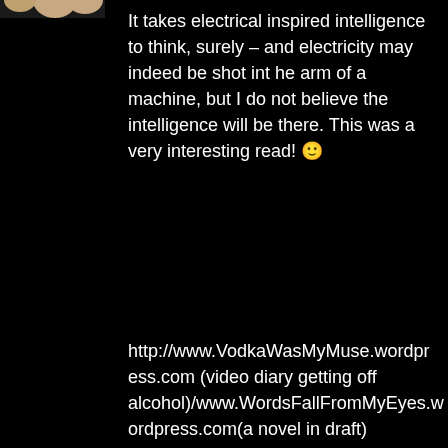[Figure (photo): Partial view of a person's hand/fingers visible at top-left corner of page]
It takes electrical inspired intelligence to think, surely – and electricity may indeed be shot int he arm of a machine, but I do not believe the intelligence will be there. This was a very interesting read! 🙂
http://www.VodkaWasMyMuse.wordpress.com (video diary getting off alcohol)/www.WordsFallFromMyEyes.wordpress.com(a novel in draft)
Reply
[Figure (photo): Circular avatar photo of a man (fhhakansson) with a star badge overlay]
fhhakansson says:
May 9, 2012 at 12:58 pm
Thank you for your comment! No, the intelligence will take a long time to get into the machine. We need, at least